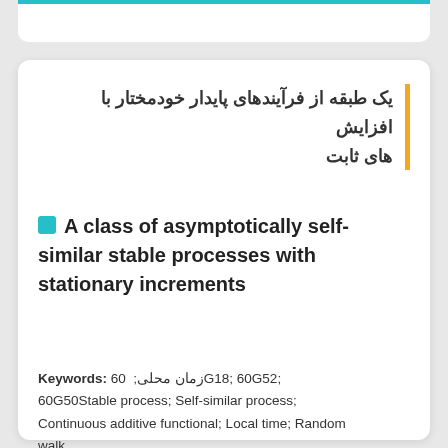یک طبقه از فرآیندهای پایدار خودمختار با افزایش های ثابت
A class of asymptotically self-similar stable processes with stationary increments
Keywords: 60  ;زمان محلیG18; 60G52; 60G50Stable process; Self-similar process; Continuous additive functional; Local time; Random walk